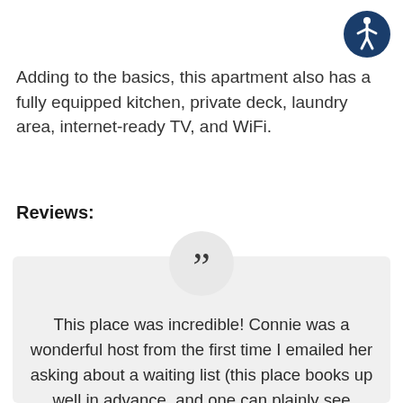[Figure (logo): Accessibility icon — circular dark blue badge with a white stick figure person in motion]
Adding to the basics, this apartment also has a fully equipped kitchen, private deck, laundry area, internet-ready TV, and WiFi.
Reviews:
This place was incredible! Connie was a wonderful host from the first time I emailed her asking about a waiting list (this place books up well in advance, and one can plainly see why!). She was